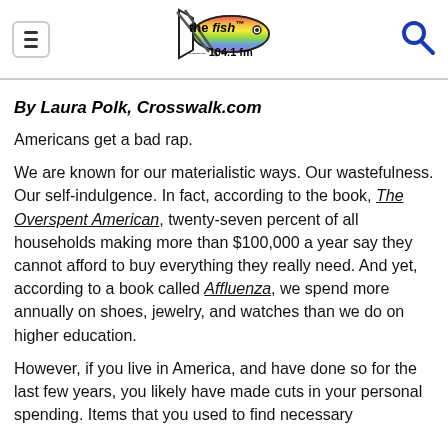the fish 104.1 fm
By Laura Polk, Crosswalk.com
Americans get a bad rap.
We are known for our materialistic ways. Our wastefulness. Our self-indulgence. In fact, according to the book, The Overspent American, twenty-seven percent of all households making more than $100,000 a year say they cannot afford to buy everything they really need. And yet, according to a book called Affluenza, we spend more annually on shoes, jewelry, and watches than we do on higher education.
However, if you live in America, and have done so for the last few years, you likely have made cuts in your personal spending. Items that you used to find necessary